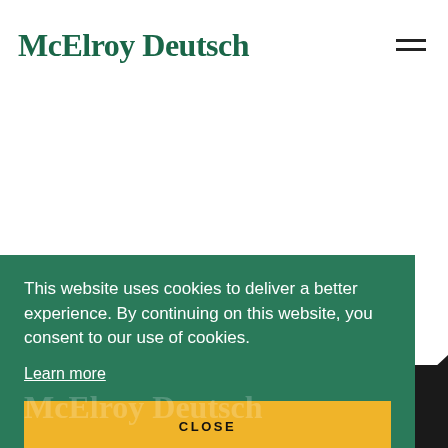McElroy Deutsch
g·
SIGN UP
This website uses cookies to deliver a better experience. By continuing on this website, you consent to our use of cookies.
Learn more
CLOSE